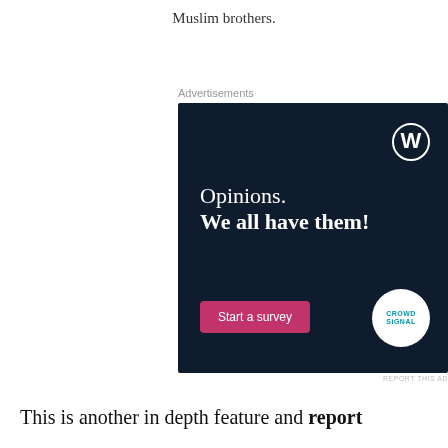Muslim brothers.
Advertisements
[Figure (screenshot): WordPress/CrowdSignal advertisement with dark navy background showing text 'Opinions. We all have them!' with a pink 'Start a survey' button and WordPress logo in top right corner and CrowdSignal logo in bottom right.]
REPORT THIS AD
This is another in depth feature and report